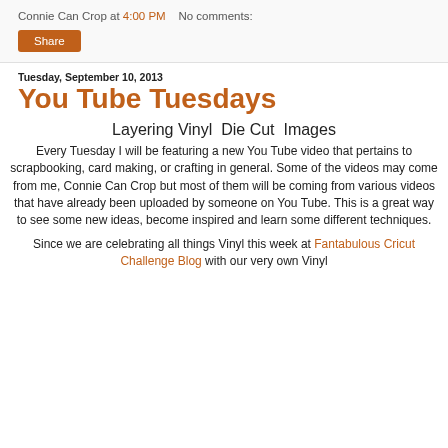Connie Can Crop at 4:00 PM   No comments:
Share
Tuesday, September 10, 2013
You Tube Tuesdays
Layering Vinyl  Die Cut  Images
Every Tuesday I will be featuring a new You Tube video that pertains to scrapbooking, card making, or crafting in general. Some of the videos may come from me, Connie Can Crop but most of them will be coming from various videos that have already been uploaded by someone on You Tube. This is a great way to see some new ideas, become inspired and learn some different techniques.
Since we are celebrating all things Vinyl this week at Fantabulous Cricut Challenge Blog with our very own Vinyl